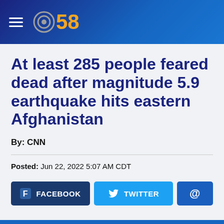CBS 58
At least 285 people feared dead after magnitude 5.9 earthquake hits eastern Afghanistan
By: CNN
Posted: Jun 22, 2022 5:07 AM CDT
[Figure (other): Social share buttons: Facebook, Twitter, and email (@) buttons]